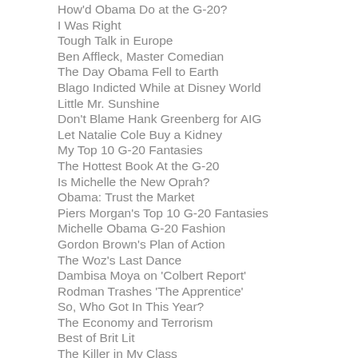How'd Obama Do at the G-20?
I Was Right
Tough Talk in Europe
Ben Affleck, Master Comedian
The Day Obama Fell to Earth
Blago Indicted While at Disney World
Little Mr. Sunshine
Don't Blame Hank Greenberg for AIG
Let Natalie Cole Buy a Kidney
My Top 10 G-20 Fantasies
The Hottest Book At the G-20
Is Michelle the New Oprah?
Obama: Trust the Market
Piers Morgan's Top 10 G-20 Fantasies
Michelle Obama G-20 Fashion
Gordon Brown's Plan of Action
The Woz's Last Dance
Dambisa Moya on 'Colbert Report'
Rodman Trashes 'The Apprentice'
So, Who Got In This Year?
The Economy and Terrorism
Best of Brit Lit
The Killer in My Class
Haggling with the Stars
Women Who Eat Meat
Stop Picking on Pinch
Barney Frank Hits Back